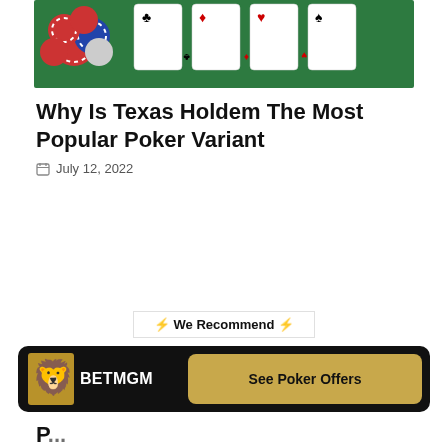[Figure (photo): Poker table with playing cards and casino chips on green felt]
Why Is Texas Holdem The Most Popular Poker Variant
July 12, 2022
⚡ We Recommend ⚡
[Figure (logo): BetMGM banner with lion logo and See Poker Offers button]